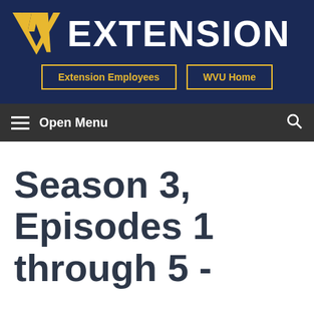WV EXTENSION
Extension Employees | WVU Home
Open Menu
Season 3, Episodes 1 through 5 -